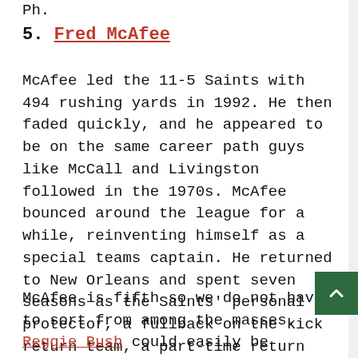Ph.
5. Fred McAfee
McAfee led the 11-5 Saints with 494 rushing yards in 1992. He then faded quickly, and he appeared to be on the same career path guys like McCall and Livingston followed in the 1970s. McAfee bounced around the league for a while, reinventing himself as a special teams captain. He returned to New Orleans and spent seven seasons as the Saints' personal protector, a fullback on the kick return team, a part-time return man, and general special teams ace. If we ever open the Special Teams Hall of Fame, McAfee will join Steve Tasker, Bill Bates, Gary Stills, and a select handful of others in the non-specialist wing.
McAfee is fifth so we do not have to sort from among the masses. Reggie Bush could easily be